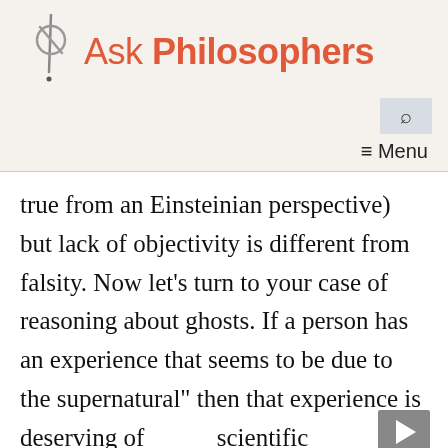Ask Philosophers
true from an Einsteinian perspective) but lack of objectivity is different from falsity. Now let's turn to your case of reasoning about ghosts. If a person has an experience that seems to be due to the supernatural" then that experience is deserving of scientific explanation. In a society with less